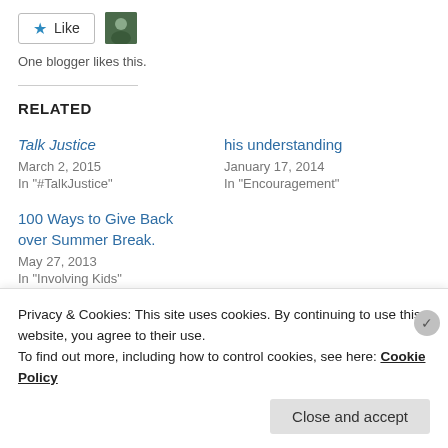[Figure (other): Like button with blue star and avatar photo thumbnail]
One blogger likes this.
RELATED
Talk Justice
March 2, 2015
In "#TalkJustice"
his understanding
January 17, 2014
In "Encouragement"
100 Ways to Give Back over Summer Break.
May 27, 2013
In "Involving Kids"
Privacy & Cookies: This site uses cookies. By continuing to use this website, you agree to their use.
To find out more, including how to control cookies, see here: Cookie Policy
Close and accept